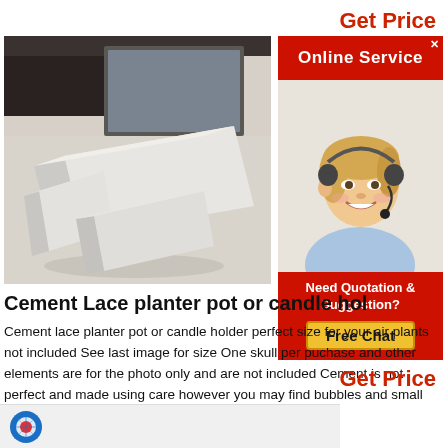Get Price
[Figure (photo): White cement/plaster geometric brick-like shapes stacked on a light wooden surface]
[Figure (screenshot): Online Service sidebar widget with red header 'Online Service', a female customer service agent with headset, and a red 'Need Quotation & Suggestion?' box with a 'Free Chat' yellow button]
Cement Lace planter pot or candle hol
Cement lace planter pot or candle holder perfect size for your air plants not included See last image for size One skull per puchase and other elements are for the photo only and are not included Cement is not perfect and made using care however you may find bubbles and small imperfections as
Get Price